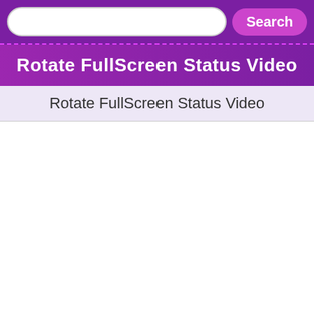[Figure (screenshot): Search bar with a white rounded input field and a purple 'Search' button on a dark purple background with dashed pink border below]
Rotate FullScreen Status Video
Rotate FullScreen Status Video